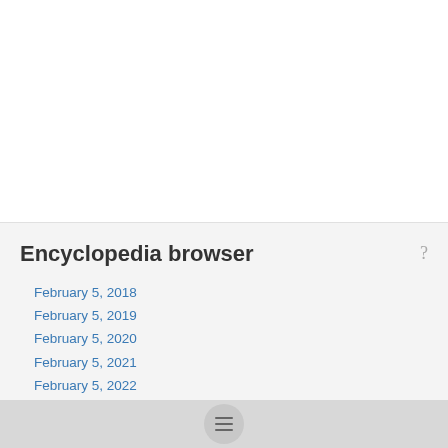Encyclopedia browser
February 5, 2018
February 5, 2019
February 5, 2020
February 5, 2021
February 5, 2022
▶ February 5, 2023
February 6